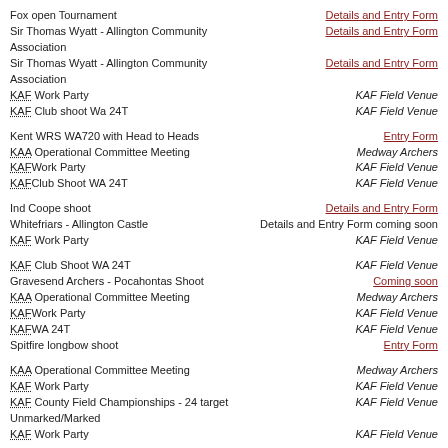Fox open Tournament | Details and Entry Form
Sir Thomas Wyatt - Allington Community Association | Details and Entry Form
Sir Thomas Wyatt - Allington Community Association | Details and Entry Form
KAF Work Party | KAF Field Venue
KAF Club shoot Wa 24T | KAF Field Venue
Kent WRS WA720 with Head to Heads | Entry Form
KAA Operational Committee Meeting | Medway Archers
KAFWork Party | KAF Field Venue
KAFClub Shoot WA 24T | KAF Field Venue
Ind Coope shoot | Details and Entry Form
Whitefriars - Allington Castle | Details and Entry Form coming soon
KAF Work Party | KAF Field Venue
KAF Club Shoot WA 24T | KAF Field Venue
Gravesend Archers - Pocahontas Shoot | Coming soon
KAA Operational Committee Meeting | Medway Archers
KAFWork Party | KAF Field Venue
KAFWA 24T | KAF Field Venue
Spitfire longbow shoot | Entry Form
KAA Operational Committee Meeting | Medway Archers
KAF Work Party | KAF Field Venue
KAF County Field Championships - 24 target Unmarked/Marked | KAF Field Venue
KAF Work Party | KAF Field Venue
KAF Work Party | KAF Field Venue